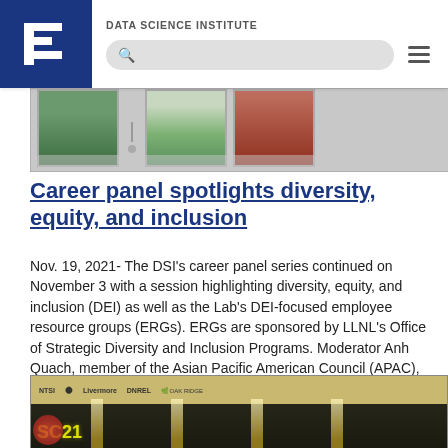DATA SCIENCE INSTITUTE
[Figure (photo): Partial view of three headshot photos of panelists in a banner strip]
Career panel spotlights diversity, equity, and inclusion
Nov. 19, 2021- The DSI's career panel series continued on November 3 with a session highlighting diversity, equity, and inclusion (DEI) as well as the Lab's DEI-focused employee resource groups (ERGs). ERGs are sponsored by LLNL's Office of Strategic Diversity and Inclusion Programs. Moderator Anh Quach, member of the Asian Pacific American Council (APAC), was joined by four panelists: Raul Viera Mercado...
[Figure (photo): Photo of SC21 conference booth with NREL, Oak Ridge and other national lab banners, lit from below]